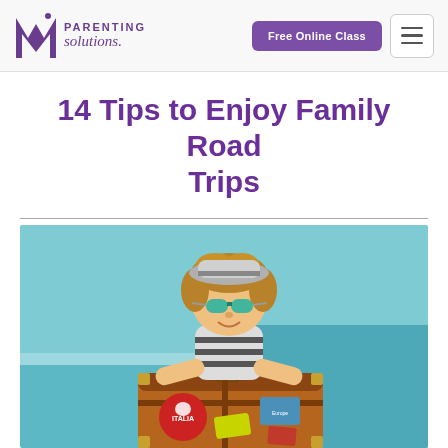MI Parenting Solutions — Free Online Class
14 Tips to Enjoy Family Road Trips
[Figure (photo): Child wearing sunglasses and a hat, leaning on a vintage suitcase covered in travel stickers, against a teal sky and sea background]